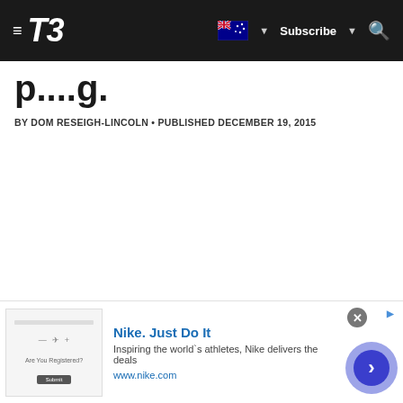T3 — Subscribe
[partial title text clipped]
BY DOM RESEIGH-LINCOLN • PUBLISHED DECEMBER 19, 2015
[Figure (screenshot): Nike advertisement banner with logo, tagline 'Nike. Just Do It', subtitle 'Inspiring the world's athletes, Nike delivers the deals', URL www.nike.com, and a circular call-to-action button]